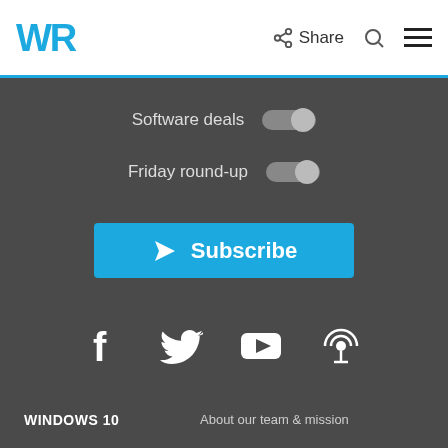[Figure (logo): WR logo in blue with Share, search, and hamburger menu icons in the header]
Software deals
[Figure (other): Toggle switch for Software deals (off position)]
Friday round-up
[Figure (other): Toggle switch for Friday round-up (off position)]
Subscribe
[Figure (other): Social media icons: Facebook, Twitter, YouTube, Podcast]
WINDOWS 10
About our team & mission
Join Us
TROUBLESHOOTING
Contact Us
SOFTWARE